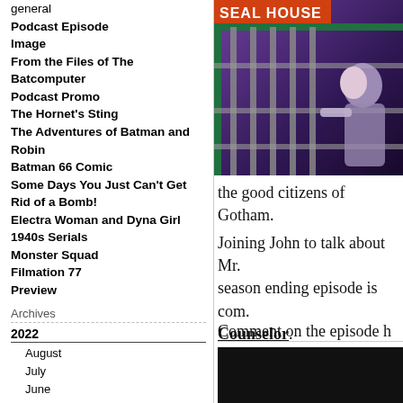general
Podcast Episode
Image
From the Files of The Batcomputer
Podcast Promo
The Hornet's Sting
The Adventures of Batman and Robin
Batman 66 Comic
Some Days You Just Can't Get Rid of a Bomb!
Electra Woman and Dyna Girl
1940s Serials
Monster Squad
Filmation 77
Preview
Archives
2022
August
July
June
May
April
2021
November
August
July
[Figure (photo): Person looking through bars at a location marked SEAL HOUSE, purple/blue lighting]
the good citizens of Gotham.
Joining John to talk about Mr. season ending episode is com. Counselor.
Comment on the episode h moment to rate the episode